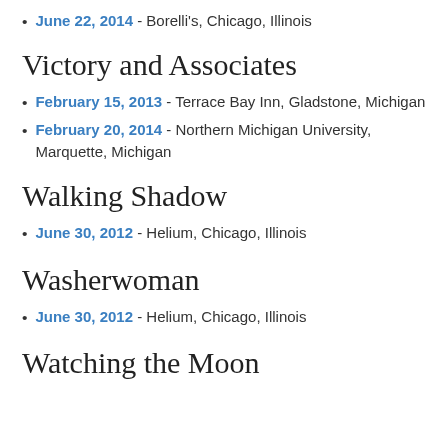June 22, 2014 - Borelli's, Chicago, Illinois
Victory and Associates
February 15, 2013 - Terrace Bay Inn, Gladstone, Michigan
February 20, 2014 - Northern Michigan University, Marquette, Michigan
Walking Shadow
June 30, 2012 - Helium, Chicago, Illinois
Washerwoman
June 30, 2012 - Helium, Chicago, Illinois
Watching the Moon